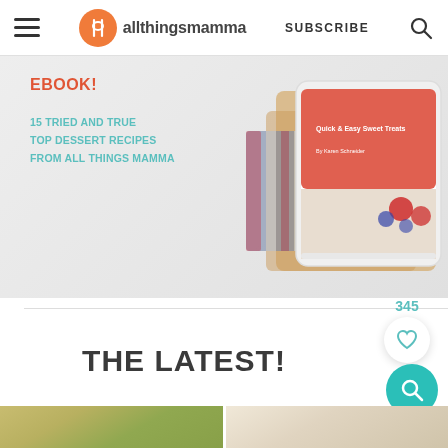allthingsmamma — SUBSCRIBE
[Figure (screenshot): Banner advertisement for an ebook: '15 TRIED AND TRUE TOP DESSERT RECIPES FROM ALL THINGS MAMMA' with a tablet mockup showing a red ebook cover with berries]
345
THE LATEST!
[Figure (photo): Two food photos side by side at the bottom of the page]